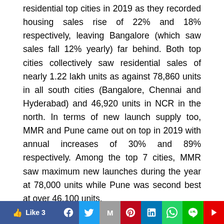residential top cities in 2019 as they recorded housing sales rise of 22% and 18% respectively, leaving Bangalore (which saw sales fall 12% yearly) far behind. Both top cities collectively saw residential sales of nearly 1.22 lakh units as against 78,860 units in all south cities (Bangalore, Chennai and Hyderabad) and 46,920 units in NCR in the north. In terms of new launch supply too, MMR and Pune came out on top in 2019 with annual increases of 30% and 89% respectively. Among the top 7 cities, MMR saw maximum new launches during the year at 78,000 units while Pune was second best at over 46,100 units.
Segment-wise analyses reveals that affordable housing...